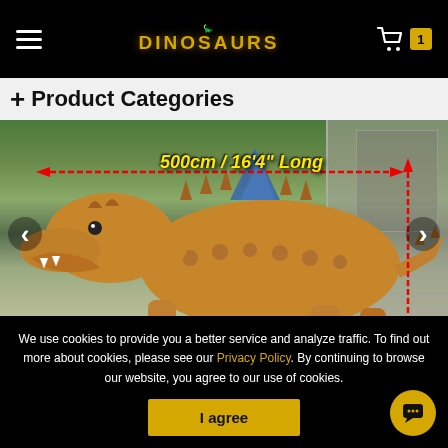DINOSAURS — navigation header with hamburger menu, logo, and cart with 1 item
+ Product Categories
[Figure (photo): A large animatronic dinosaur (ankylosaur-type) with spikes and a blue fin/plate on its back, displayed outdoors. Red measurement arrows indicate 500cm / 16'4" Long. Carousel with left and right navigation arrows.]
We use cookies to provide you a better service and analyze traffic. To find out more about cookies, please see our Privacy Policy. By continuing to browse our website, you agree to our use of cookies.